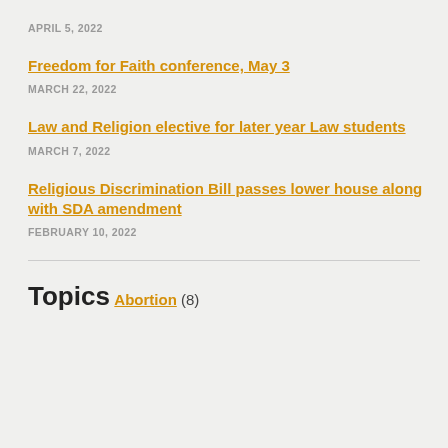APRIL 5, 2022
Freedom for Faith conference, May 3
MARCH 22, 2022
Law and Religion elective for later year Law students
MARCH 7, 2022
Religious Discrimination Bill passes lower house along with SDA amendment
FEBRUARY 10, 2022
Topics
Abortion (8)